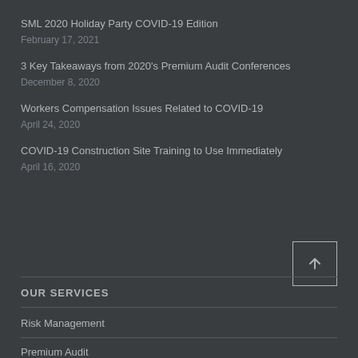SML 2020 Holiday Party COVID-19 Edition
February 17, 2021
3 Key Takeaways from 2020's Premium Audit Conferences
December 8, 2020
Workers Compensation Issues Related to COVID-19
April 24, 2020
COVID-19 Construction Site Training to Use Immediately
April 16, 2020
OUR SERVICES
Risk Management
Premium Audit